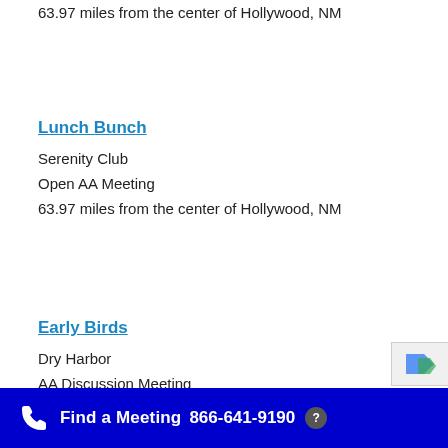63.97 miles from the center of Hollywood, NM
Lunch Bunch
Serenity Club
Open AA Meeting
63.97 miles from the center of Hollywood, NM
Early Birds
Dry Harbor
AA Discussion Meeting
Find a Meeting  866-641-9190